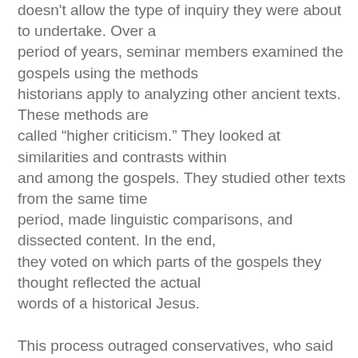doesn't allow the type of inquiry they were about to undertake. Over a period of years, seminar members examined the gospels using the methods historians apply to analyzing other ancient texts. These methods are called "higher criticism." They looked at similarities and contrasts within and among the gospels. They studied other texts from the same time period, made linguistic comparisons, and dissected content. In the end, they voted on which parts of the gospels they thought reflected the actual words of a historical Jesus.

This process outraged conservatives, who said the vote trivialized the sacred word of God. Yet in reality, the Jesus Seminar scholars were following a time-honored tradition and engaging in the very process by which the content of the Bible was established. Their criteria